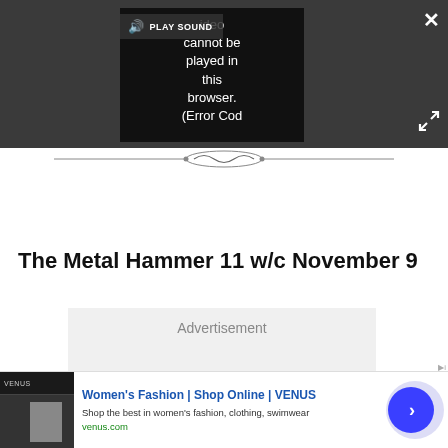[Figure (screenshot): Video player overlay on dark gray background showing a black video frame with error message 'Video cannot be played in this browser. (Error Cod' and a PLAY SOUND button. Close (X) and expand buttons are visible.]
[Figure (illustration): Decorative ornamental divider line with scrollwork in the center]
The Metal Hammer 11 w/c November 9
[Figure (other): Advertisement placeholder box with text 'Advertisement']
[Figure (screenshot): Bottom banner advertisement for Women's Fashion | Shop Online | VENUS. Shows 'Shop the best in women's fashion, clothing, swimwear' and venus.com URL, with a blue arrow button.]